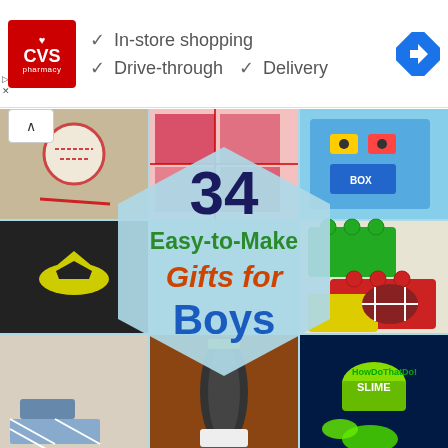[Figure (infographic): CVS Pharmacy advertisement banner showing logo, checkmarks for In-store shopping, Drive-through, and Delivery services, with a navigation arrow icon]
[Figure (infographic): Collage image titled '34 Easy-to-Make Gifts for Boys' with a hexagonal overlay on a grid of photos showing various handmade gifts including Batman sweater, LEGO blocks, football hat, slime, and other craft projects]